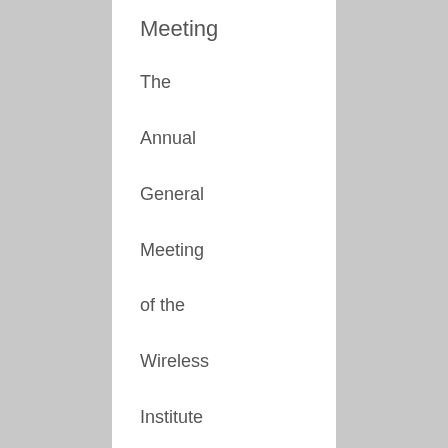Meeting
The Annual General Meeting of the Wireless Institute of Australia will be conducted in the Tradewinds Hotel from 0800